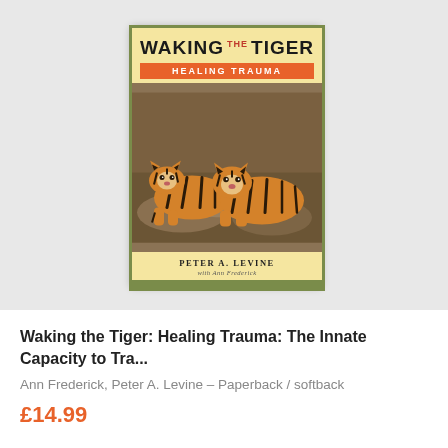[Figure (photo): Book cover of 'Waking the Tiger: Healing Trauma' by Peter A. Levine with Ann Frederick, showing two tigers on cover, displayed against a light grey background]
Waking the Tiger: Healing Trauma: The Innate Capacity to Tra...
Ann Frederick, Peter A. Levine – Paperback / softback
£14.99